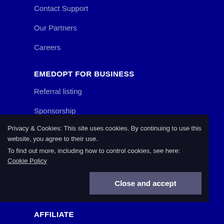Contact Support
Our Partners
Careers
EMEDOPT FOR BUSINESS
Referral listing
Sponsorship
Advertisements
Privacy & Cookies: This site uses cookies. By continuing to use this website, you agree to their use.
To find out more, including how to control cookies, see here: Cookie Policy
Close and accept
AFFILIATE